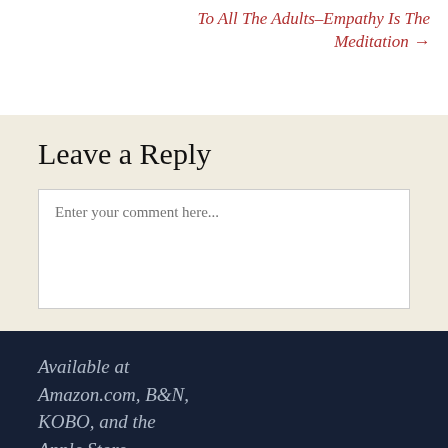To All The Adults–Empathy Is The Meditation →
Leave a Reply
Enter your comment here...
Available at Amazon.com, B&N, KOBO, and the Apple Store
Select Month